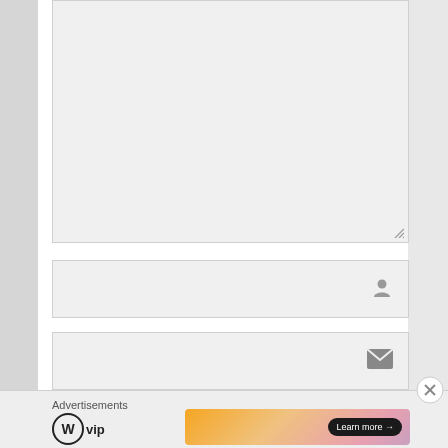[Figure (screenshot): Large comment textarea input box with resize handle in bottom-right corner, light gray background]
[Figure (screenshot): Name input field with person/user icon on the right side, light gray background]
[Figure (screenshot): Email input field with envelope/mail icon on the right side, light gray background]
Advertisements
[Figure (logo): WordPress VIP logo - WordPress circle W logo followed by VIP text]
[Figure (screenshot): Ad banner with gradient peach/pink background and 'Learn more →' button in dark pill shape]